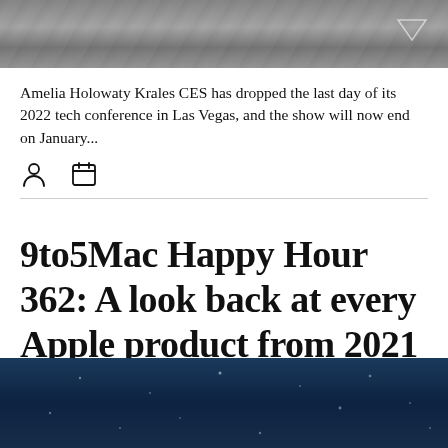[Figure (photo): Grayscale photo, partial view at top of page with a triangle/arrow icon overlay on the right side]
Amelia Holowaty Krales CES has dropped the last day of its 2022 tech conference in Las Vegas, and the show will now end on January...
[Figure (other): User/author icon and calendar icon with a horizontal divider line]
9to5Mac Happy Hour 362: A look back at every Apple product from 2021
[Figure (photo): Dark blue night sky or space background image, partially visible at bottom of page]